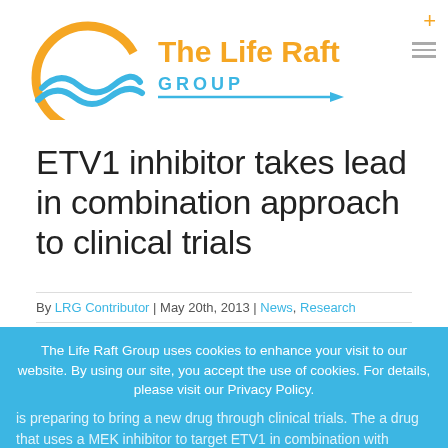The Life Raft Group
ETV1 inhibitor takes lead in combination approach to clinical trials
By LRG Contributor | May 20th, 2013 | News, Research
The Life Raft Group uses cookies to enhance your visit to our website. By using our site, you accept the use of cookies. For details, please visit our Privacy Policy.
is preparing to bring a new drug through clinical trials. The ... a drug that uses a MEK inhibitor to target ETV1 in combination with